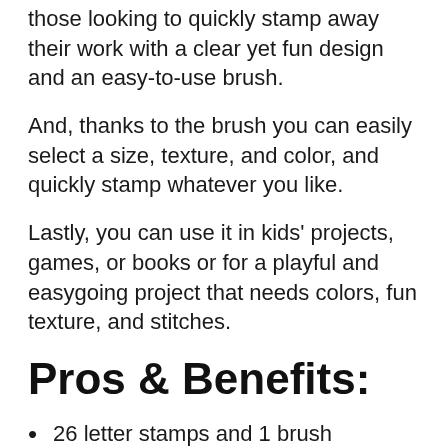those looking to quickly stamp away their work with a clear yet fun design and an easy-to-use brush.
And, thanks to the brush you can easily select a size, texture, and color, and quickly stamp whatever you like.
Lastly, you can use it in kids' projects, games, or books or for a playful and easygoing project that needs colors, fun texture, and stitches.
Pros & Benefits:
26 letter stamps and 1 brush
Quick and easy
Has an interesting texture